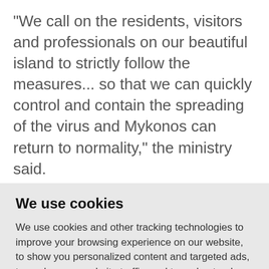"We call on the residents, visitors and professionals on our beautiful island to strictly follow the measures... so that we can quickly control and contain the spreading of the virus and Mykonos can return to normality," the ministry said.
The restrictions on Mykonos will be in
We use cookies
We use cookies and other tracking technologies to improve your browsing experience on our website, to show you personalized content and targeted ads, to analyze our website traffic, and to understand where our visitors are coming from.